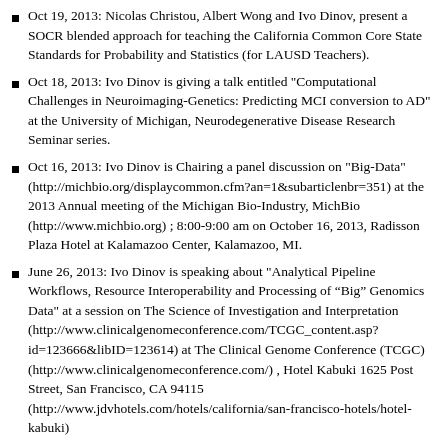Oct 19, 2013: Nicolas Christou, Albert Wong and Ivo Dinov, present a SOCR blended approach for teaching the California Common Core State Standards for Probability and Statistics (for LAUSD Teachers).
Oct 18, 2013: Ivo Dinov is giving a talk entitled "Computational Challenges in Neuroimaging-Genetics: Predicting MCI conversion to AD" at the University of Michigan, Neurodegenerative Disease Research Seminar series.
Oct 16, 2013: Ivo Dinov is Chairing a panel discussion on "Big-Data" (http://michbio.org/displaycommon.cfm?an=1&subarticlenbr=351) at the 2013 Annual meeting of the Michigan Bio-Industry, MichBio (http://www.michbio.org) ; 8:00-9:00 am on October 16, 2013, Radisson Plaza Hotel at Kalamazoo Center, Kalamazoo, MI.
June 26, 2013: Ivo Dinov is speaking about "Analytical Pipeline Workflows, Resource Interoperability and Processing of “Big” Genomics Data" at a session on The Science of Investigation and Interpretation (http://www.clinicalgenomeconference.com/TCGC_content.asp?id=123666&libID=123614) at The Clinical Genome Conference (TCGC) (http://www.clinicalgenomeconference.com/) , Hotel Kabuki 1625 Post Street, San Francisco, CA 94115 (http://www.jdvhotels.com/hotels/california/san-francisco-hotels/hotel-kabuki)